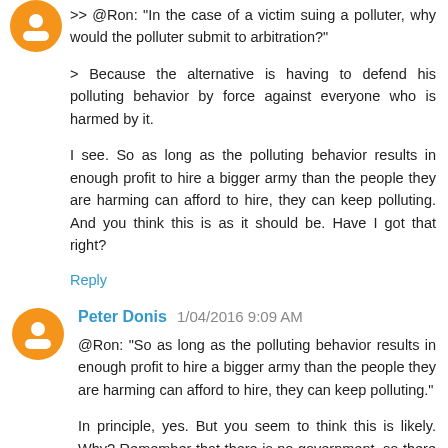>> @Ron: "In the case of a victim suing a polluter, why would the polluter submit to arbitration?"
> Because the alternative is having to defend his polluting behavior by force against everyone who is harmed by it.
I see. So as long as the polluting behavior results in enough profit to hire a bigger army than the people they are harming can afford to hire, they can keep polluting. And you think this is as it should be. Have I got that right?
Reply
Peter Donis  1/04/2016 9:09 AM
@Ron: "So as long as the polluting behavior results in enough profit to hire a bigger army than the people they are harming can afford to hire, they can keep polluting."
In principle, yes. But you seem to think this is likely. Why? Remember that there is no government, so there is no way for a polluter to make a profit by buying a monopoly on some market from the government; he has to make a profit